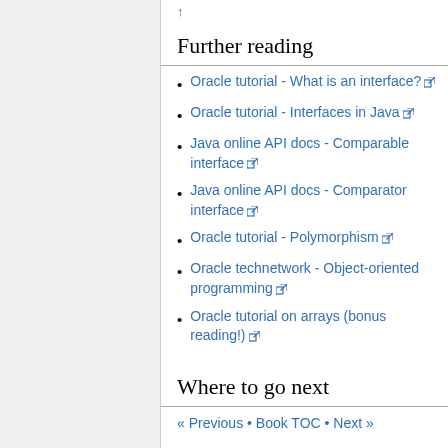Further reading
Oracle tutorial - What is an interface?
Oracle tutorial - Interfaces in Java
Java online API docs - Comparable interface
Java online API docs - Comparator interface
Oracle tutorial - Polymorphism
Oracle technetwork - Object-oriented programming
Oracle tutorial on arrays (bonus reading!)
Where to go next
« Previous • Book TOC • Next »